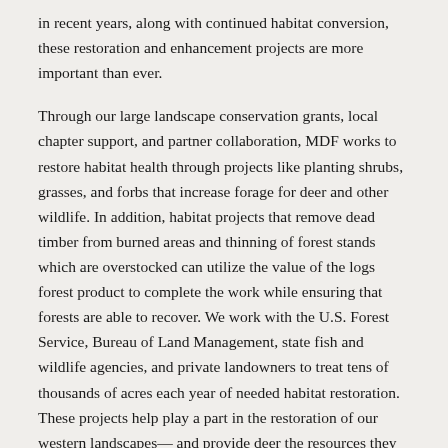in recent years, along with continued habitat conversion, these restoration and enhancement projects are more important than ever.
Through our large landscape conservation grants, local chapter support, and partner collaboration, MDF works to restore habitat health through projects like planting shrubs, grasses, and forbs that increase forage for deer and other wildlife. In addition, habitat projects that remove dead timber from burned areas and thinning of forest stands which are overstocked can utilize the value of the logs forest product to complete the work while ensuring that forests are able to recover. We work with the U.S. Forest Service, Bureau of Land Management, state fish and wildlife agencies, and private landowners to treat tens of thousands of acres each year of needed habitat restoration. These projects help play a part in the restoration of our western landscapes— and provide deer the resources they need to thrive.